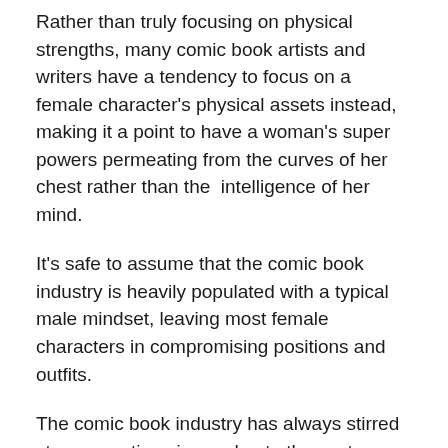Rather than truly focusing on physical strengths, many comic book artists and writers have a tendency to focus on a female character's physical assets instead, making it a point to have a woman's super powers permeating from the curves of her chest rather than the  intelligence of her mind.
It's safe to assume that the comic book industry is heavily populated with a typical male mindset, leaving most female characters in compromising positions and outfits.
The comic book industry has always stirred strong emotions in me due to the vast negative portrayal of women that pollute many comic book pages.
Knowing that male readers, young and old, are soaking up the myth that women are nothing but sexual objects, even